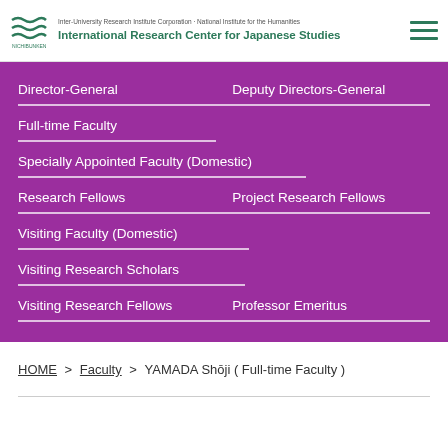Inter-University Research Institute Corporation · National Institute for the Humanities International Research Center for Japanese Studies
Director-General
Deputy Directors-General
Full-time Faculty
Specially Appointed Faculty (Domestic)
Research Fellows
Project Research Fellows
Visiting Faculty (Domestic)
Visiting Research Scholars
Visiting Research Fellows
Professor Emeritus
HOME > Faculty > YAMADA Shōji ( Full-time Faculty )